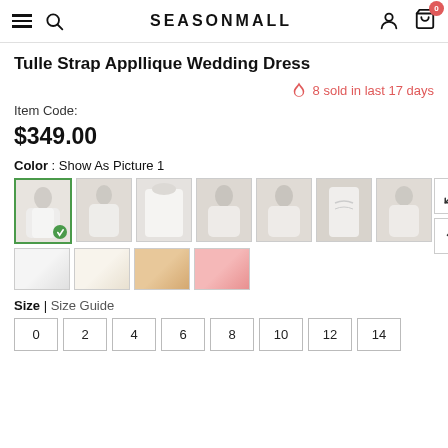SEASONMALL — navigation header with hamburger, search, logo, account, cart (0)
Tulle Strap Appllique Wedding Dress
8 sold in last 17 days
Item Code:
$349.00
Color : Show As Picture 1
[Figure (photo): 7 thumbnail images of white wedding dress from different angles]
[Figure (photo): 4 fabric color swatches: white, ivory, champagne, blush]
Size | Size Guide
Size options: 0, 2, 4, 6, 8, 10, 12, 14